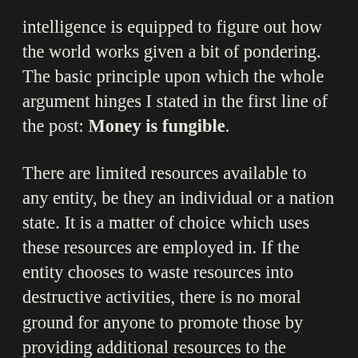intelligence is equipped to figure out how the world works given a bit of pondering. The basic principle upon which the whole argument hinges I stated in the first line of the post: Money is fungible.
There are limited resources available to any entity, be they an individual or a nation state. It is a matter of choice which uses these resources are employed in. If the entity chooses to waste resources into destructive activities, there is no moral ground for anyone to promote those by providing additional resources to the chooser. It is a shortsighted ethically unsupportable act. As long as a country is wasting resources arming itself...